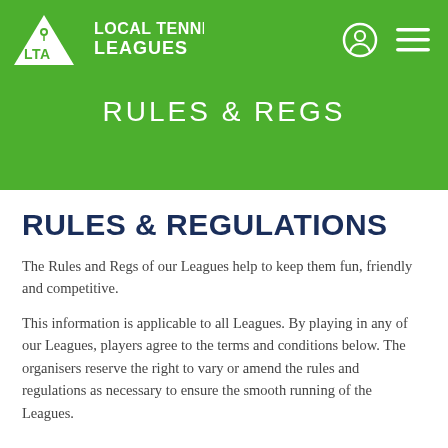[Figure (logo): LTA Local Tennis Leagues logo with green triangle and white text]
RULES & REGS
RULES & REGULATIONS
The Rules and Regs of our Leagues help to keep them fun, friendly and competitive.
This information is applicable to all Leagues. By playing in any of our Leagues, players agree to the terms and conditions below. The organisers reserve the right to vary or amend the rules and regulations as necessary to ensure the smooth running of the Leagues.